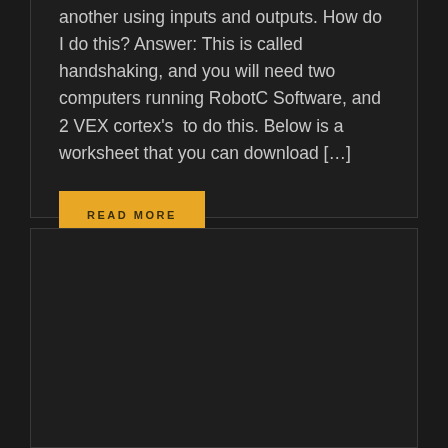another using inputs and outputs. How do I do this? Answer: This is called handshaking, and you will need two computers running RobotC Software, and 2 VEX cortex's  to do this. Below is a worksheet that you can download […]
READ MORE
[Figure (other): Dark empty card/panel with dark background, no visible content]